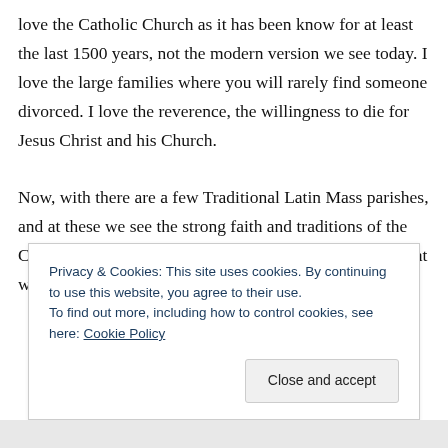love the Catholic Church as it has been know for at least the last 1500 years, not the modern version we see today. I love the large families where you will rarely find someone divorced. I love the reverence, the willingness to die for Jesus Christ and his Church.

Now, with there are a few Traditional Latin Mass parishes, and at these we see the strong faith and traditions of the Catholic Church of 1950 years. We finally have back what we lost in the
Privacy & Cookies: This site uses cookies. By continuing to use this website, you agree to their use.
To find out more, including how to control cookies, see here: Cookie Policy
Close and accept